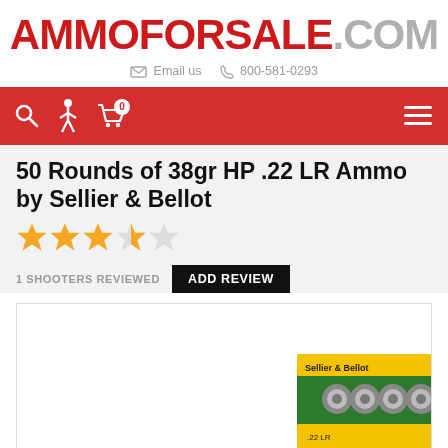[Figure (logo): AMMOforSALE.COM logo in red and gray text]
Email us   800-581-0293
[Figure (screenshot): Red navigation bar with search icon, shooter icon, cart icon with 0 badge, and hamburger menu]
50 Rounds of 38gr HP .22 LR Ammo by Sellier & Bellot
[Figure (other): 3.5 out of 5 stars rating (3 filled stars, 1 half-star, 1 empty star)]
1 SHOOTERS REVIEWED
ADD REVIEW
[Figure (photo): Partial product image showing Sellier & Bellot .22 LR ammo box on white background]